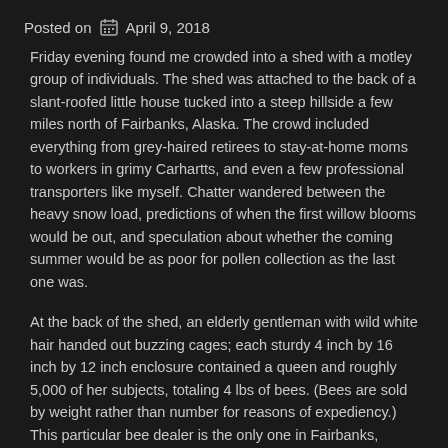Posted on  April 9, 2018
Friday evening found me crowded into a shed with a motley group of individuals. The shed was attached to the back of a slant-roofed little house tucked into a steep hillside a few miles north of Fairbanks, Alaska. The crowd included everything from grey-haired retirees to stay-at-home moms to workers in grimy Carhartts, and even a few professional transporters like myself. Chatter wandered between the heavy snow load, predictions of when the first willow blooms would be out, and speculation about whether the coming summer would be as poor for pollen collection as the last one was.
At the back of the shed, an elderly gentleman with wild white hair handed out buzzing cages; each sturdy 4 inch by 16 inch by 12 inch enclosure contained a queen and roughly 5,000 of her subjects, totaling 4 lbs of bees. (Bees are sold by weight rather than number for reasons of expediency.) This particular bee dealer is the only one in Fairbanks,